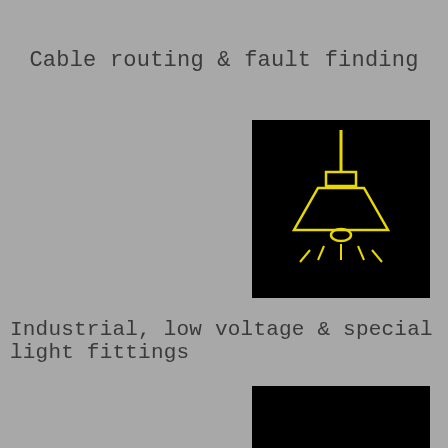Cable routing & fault finding
[Figure (illustration): Black square icon with yellow outline of a pendant/industrial hanging lamp with light rays emanating from the bottom]
Industrial, low voltage & special light fittings
[Figure (illustration): Black square icon with yellow outline of an industrial light fitting or electrical component, partially visible at bottom of page]